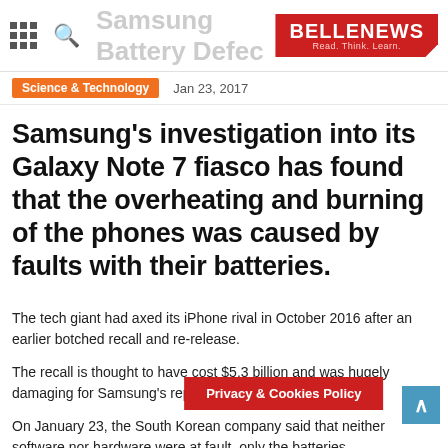Samsung Battery Defect - BELLE NEWS - Read. Think. Learn.
Science & Technology   Jan 23, 2017
Samsung's investigation into its Galaxy Note 7 fiasco has found that the overheating and burning of the phones was caused by faults with their batteries.
The tech giant had axed its iPhone rival in October 2016 after an earlier botched recall and re-release.
The recall is thought to have cost $5.3 billion and was hugely damaging for Samsung's reputation.
On January 23, the South Korean company said that neither software nor hardware were at fault, only the batteries.
Internal and independent inve... batteries
Privacy & Cookies Policy